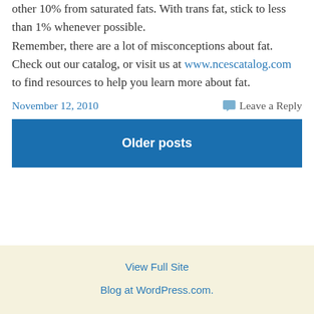other 10% from saturated fats. With trans fat, stick to less than 1% whenever possible.

Remember, there are a lot of misconceptions about fat. Check out our catalog, or visit us at www.ncescatalog.com to find resources to help you learn more about fat.
November 12, 2010    Leave a Reply
Older posts
View Full Site
Blog at WordPress.com.